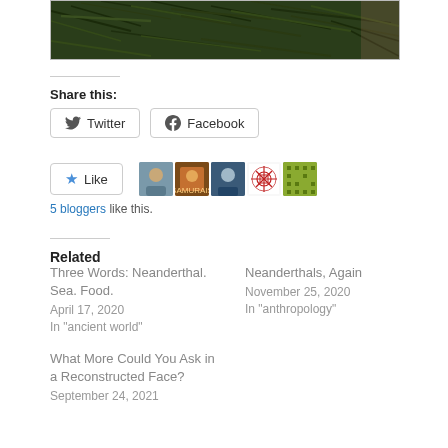[Figure (photo): Photo of pine/fir tree branches with dark green needles]
Share this:
[Figure (other): Twitter and Facebook share buttons]
[Figure (other): Like button with 5 blogger avatars]
5 bloggers like this.
Related
Three Words: Neanderthal. Sea. Food.
April 17, 2020
In "ancient world"
Neanderthals, Again
November 25, 2020
In "anthropology"
What More Could You Ask in a Reconstructed Face?
September 24, 2021